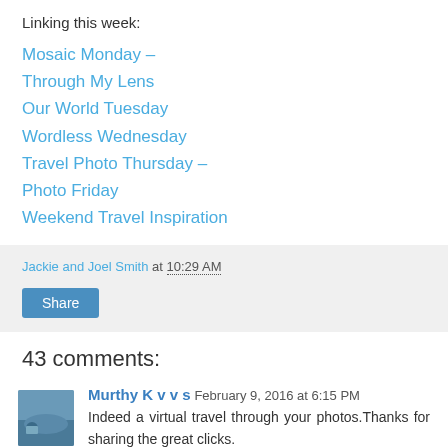Linking this week:
Mosaic Monday –
Through My Lens
Our World Tuesday
Wordless Wednesday
Travel Photo Thursday –
Photo Friday
Weekend Travel Inspiration
Jackie and Joel Smith at 10:29 AM
Share
43 comments:
Murthy K v v s  February 9, 2016 at 6:15 PM
Indeed a virtual travel through your photos.Thanks for sharing the great clicks.
Reply